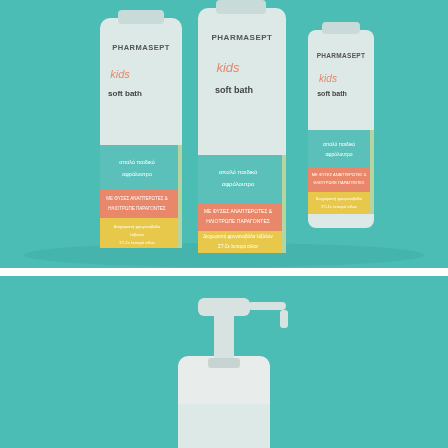[Figure (photo): Product photo of three Pharmasept Kids Soft Bath bottles arranged on a teal/turquoise background. The bottles are white with colorful label bands in teal, salmon/pink, and yellow. Each bottle reads 'PHARMASEPT' at top and 'kids soft bath' with Greek text below. The center bottle is tallest, left bottle is medium, right bottle is smallest.]
[Figure (photo): Product photo showing a white pump dispenser bottle (Pharmasept Kids Soft Bath) on a teal/turquoise background, viewed from the front. Only the pump top and upper portion of the bottle are visible as the image is cropped at the bottom.]